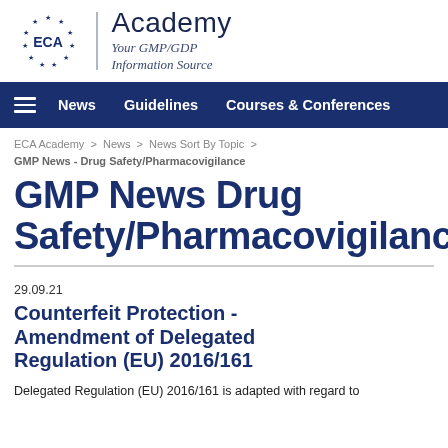[Figure (logo): ECA Academy logo with EU stars circle and text 'Academy - Your GMP/GDP Information Source']
News   Guidelines   Courses & Conferences
ECA Academy > News > News Sort By Topic > GMP News - Drug Safety/Pharmacovigilance
GMP News Drug Safety/Pharmacovigilance
29.09.21
Counterfeit Protection - Amendment of Delegated Regulation (EU) 2016/161
Delegated Regulation (EU) 2016/161 is adapted with regard to